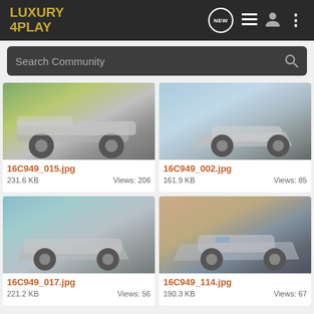LUXURY 4PLAY — Navigation header with NEW, list, user, and menu icons
Search Community
[Figure (photo): Silver Mercedes-AMG sedan driving at speed on road, side view, motion blur background, trees visible]
16C949_015.jpg
231.6 KB    Views: 206
[Figure (photo): Silver Mercedes-AMG sedan on curving road, front three-quarter view, motion blur]
16C949_002.jpg
161.9 KB    Views: 85
[Figure (photo): Silver Mercedes-AMG sedan rear three-quarter view on road, motion blur, trees in background]
16C949_017.jpg
221.2 KB    Views: 56
[Figure (photo): Silver Mercedes-AMG sedan front view driving on road with brown terrain background]
16C949_114.jpg
190.3 KB    Views: 67